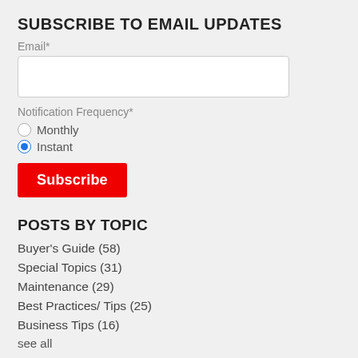SUBSCRIBE TO EMAIL UPDATES
Email*
Notification Frequency*
Monthly
Instant
Subscribe
POSTS BY TOPIC
Buyer's Guide (58)
Special Topics (31)
Maintenance (29)
Best Practices/ Tips (25)
Business Tips (16)
see all
RECENT POSTS
THE RUNDOWN: Salt Brine Prevents the Formation of Ice